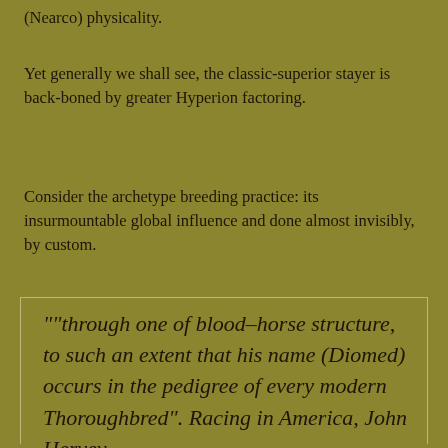(Nearco) physicality.
Yet generally we shall see, the classic-superior stayer is back-boned by greater Hyperion factoring.
Consider the archetype breeding practice: its insurmountable global influence and done almost invisibly, by custom.
""through one of blood–horse structure, to such an extent that his name (Diomed) occurs in the pedigree of every modern Thoroughbred". Racing in America, John Hervey